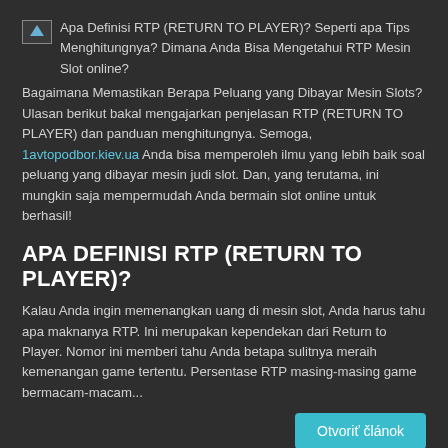Apa Definisi RTP (RETURN TO PLAYER)? Seperti apa Tips Menghitungnya? Dimana Anda Bisa Mengetahui RTP Mesin Slot online? Bagaimana Memastikan Berapa Peluang yang Dibayar Mesin Slots? Ulasan berikut bakal mengajarkan penjelasan RTP (RETURN TO PLAYER) dan panduan menghitungnya. Semoga, 1avtopodbor.kiev.ua Anda bisa memperoleh ilmu yang lebih baik soal peluang yang dibayar mesin judi slot. Dan, yang terutama, ini mungkin saja mempermudah Anda bermain slot online untuk berhasil!
APA DEFINISI RTP (RETURN TO PLAYER)?
Kalau Anda ingin memenangkan uang di mesin slot, Anda harus tahu apa maknanya RTP. Ini merupakan kependekan dari Return to Player. Nomor ini memberi tahu Anda betapa sulitnya meraih kemenangan game tertentu. Persentase RTP masing-masing game bermacam-macam...
Otvoriť článok
TIPS UNTUK MENINGKATKAN